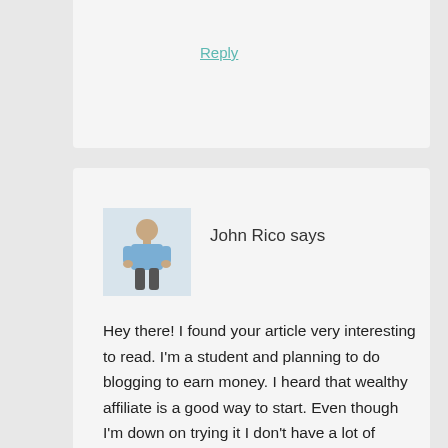Reply
[Figure (photo): Avatar photo of John Rico, a person sitting in a light blue shirt against a white background]
John Rico says
Hey there! I found your article very interesting to read. I'm a student and planning to do blogging to earn money. I heard that wealthy affiliate is a good way to start. Even though I'm down on trying it I don't have a lot of knowledge about it. Also I'm on a budget so money is a little bit of problem. Do you think that this is a good job for me to try? Thank you for your response.